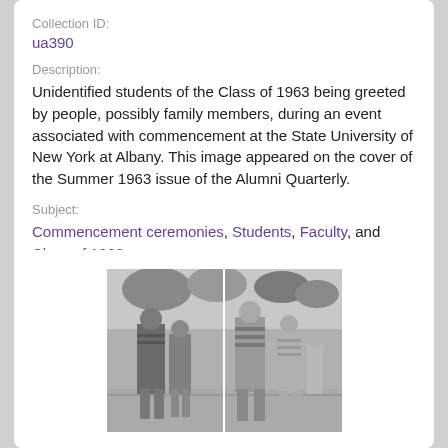Collection ID:
ua390
Description:
Unidentified students of the Class of 1963 being greeted by people, possibly family members, during an event associated with commencement at the State University of New York at Albany. This image appeared on the cover of the Summer 1963 issue of the Alumni Quarterly.
Subject:
Commencement ceremonies, Students, Faculty, and Class of 1963
[Figure (photo): Black and white photograph of students walking on campus, shown from the front and back. Multiple students visible wearing casual 1970s-era clothing.]